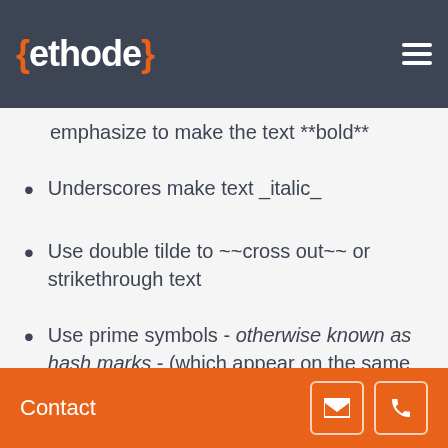{ethode}
emphasize to make the text **bold**
Underscores make text _italic_
Use double tilde to ~~cross out~~ or strikethrough text
Use prime symbols - otherwise known as hash marks - (which appear on the same keyboard key as the tilde key in the top-left corner) to
Contact